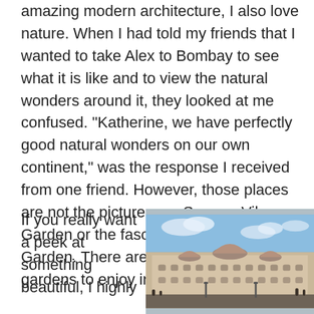amazing modern architecture, I also love nature. When I had told my friends that I wanted to take Alex to Bombay to see what it is like and to view the natural wonders around it, they looked at me confused. “Katherine, we have perfectly good natural wonders on our own continent,” was the response I received from one friend. However, those places are not the picturesque Sarovar Vihar Garden or the fascinating Parijat Garden. There are over 30 parks and gardens to enjoy in and around the city.
If you really want a peek at something beautiful, I highly
[Figure (photo): Photograph of a large ornate historical building with domed roofs, white and tan stone facade with Gothic and Moorish architectural details, blue sky with clouds in the background, people visible in the foreground. Likely the Taj Mahal Palace Hotel in Mumbai.]